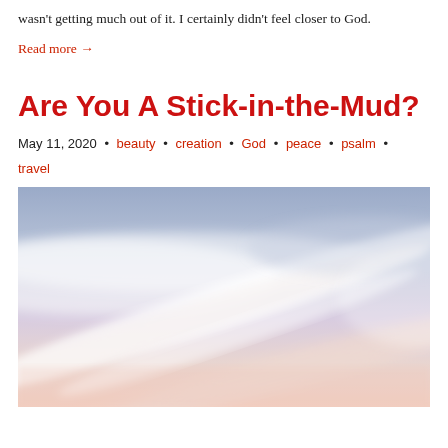wasn't getting much out of it. I certainly didn't feel closer to God.
Read more →
Are You A Stick-in-the-Mud?
May 11, 2020 • beauty • creation • God • peace • psalm • travel
[Figure (photo): Soft pastel sky with wispy clouds in shades of blue, lavender, white, and pink — a serene, ethereal sky photograph]